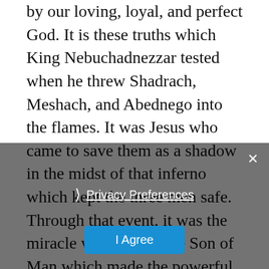by our loving, loyal, and perfect God. It is these truths which King Nebuchadnezzar tested when he threw Shadrach, Meshach, and Abednego into the flames. It was Jesus who came to save them as a shadow in the midst of that inferno which kept the three men safe. Through that event, it was the miracle we know as the Son of Man which made the powerful King bow down and praise God! (Daniel 3:8-30).  So it is the same God today – in our own time which softened the heart of Senator Flake, the same God that provoked the two women in the elevator to speak their truths, it is the same God in hope that will surely guide all the FBI Agents to seek the truth of
Privacy Preferences | I Agree